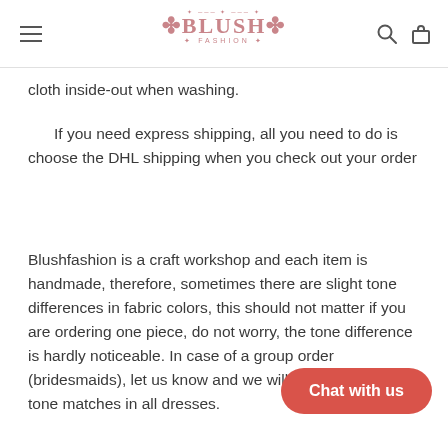BLUSH
cloth inside-out when washing.
If you need express shipping, all you need to do is choose the DHL shipping when you check out your order
Blushfashion is a craft workshop and each item is handmade, therefore, sometimes there are slight tone differences in fabric colors, this should not matter if you are ordering one piece, do not worry, the tone difference is hardly noticeable. In case of a group order (bridesmaids), let us know and we will ensure that the tone matches in all dresses.